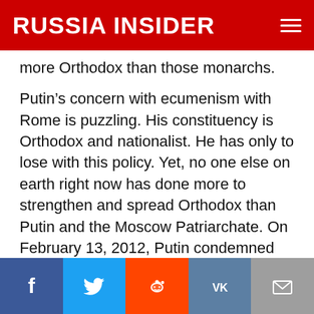RUSSIA INSIDER
more Orthodox than those monarchs.
Putin’s concern with ecumenism with Rome is puzzling. His constituency is Orthodox and nationalist. He has only to lose with this policy. Yet, no one else on earth right now has done more to strengthen and spread Orthodox than Putin and the Moscow Patriarchate. On February 13, 2012, Putin condemned the Red Army in the Russian Civil War. In 2012, 65,000 gathered at the Cathedral of Christ the Savior in Moscow to defend the church against Pussy Riot and other attacks on it. This is the new Russia.
[Figure (infographic): Social sharing bar with buttons for Facebook, Twitter, Reddit, VK, and email]